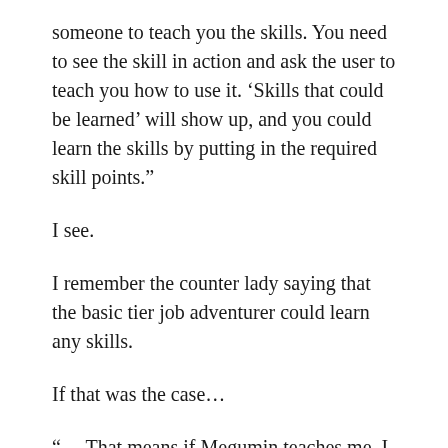someone to teach you the skills. You need to see the skill in action and ask the user to teach you how to use it. ‘Skills that could be learned’ will show up, and you could learn the skills by putting in the required skill points.”
I see.
I remember the counter lady saying that the basic tier job adventurer could learn any skills.
If that was the case…
“… That means if Megumin teaches me, I could use explosion magic?”